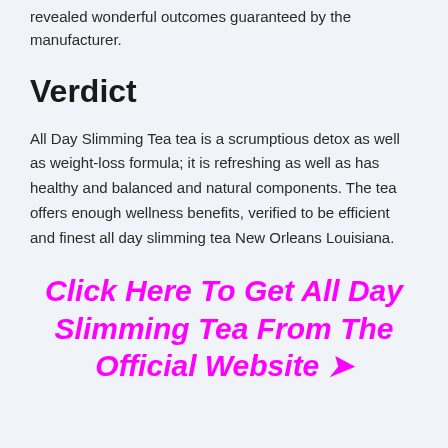revealed wonderful outcomes guaranteed by the manufacturer.
Verdict
All Day Slimming Tea tea is a scrumptious detox as well as weight-loss formula; it is refreshing as well as has healthy and balanced and natural components. The tea offers enough wellness benefits, verified to be efficient and finest all day slimming tea New Orleans Louisiana.
Click Here To Get All Day Slimming Tea From The Official Website ➤